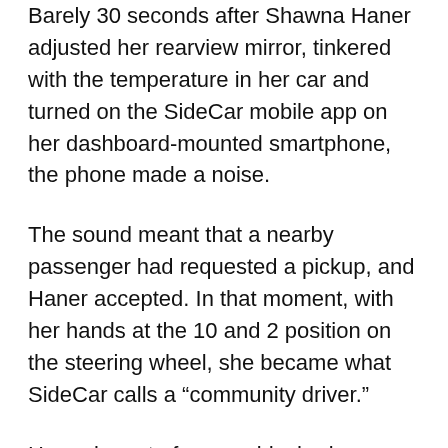Barely 30 seconds after Shawna Haner adjusted her rearview mirror, tinkered with the temperature in her car and turned on the SideCar mobile app on her dashboard-mounted smartphone, the phone made a noise.
The sound meant that a nearby passenger had requested a pickup, and Haner accepted. In that moment, with her hands at the 10 and 2 position on the steering wheel, she became what SideCar calls a “community driver.”
Haner is part of a new ridesharing service, launched in June, that allows people who need a ride to use a smartphone app to request one from SideCar drivers. Like other SideCar drivers, Haner